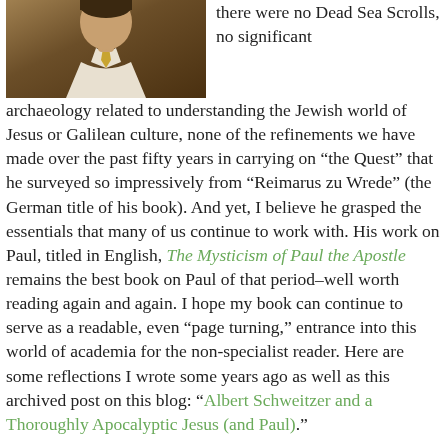[Figure (photo): Partial photo of a person wearing a gold/yellow tie and white shirt, shown from the neck/chest up, against a dark brownish background. Top portion is cropped.]
there were no Dead Sea Scrolls, no significant archaeology related to understanding the Jewish world of Jesus or Galilean culture, none of the refinements we have made over the past fifty years in carrying on “the Quest” that he surveyed so impressively from “Reimarus zu Wrede” (the German title of his book). And yet, I believe he grasped the essentials that many of us continue to work with. His work on Paul, titled in English, The Mysticism of Paul the Apostle remains the best book on Paul of that period–well worth reading again and again. I hope my book can continue to serve as a readable, even “page turning,” entrance into this world of academia for the non-specialist reader. Here are some reflections I wrote some years ago as well as this archived post on this blog: “Albert Schweitzer and a Thoroughly Apocalyptic Jesus (and Paul).”